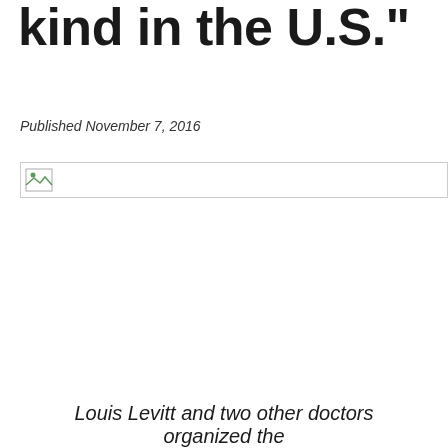kind in the U.S."
Published November 7, 2016
[Figure (photo): Broken/missing image placeholder]
Louis Levitt and two other doctors organized the